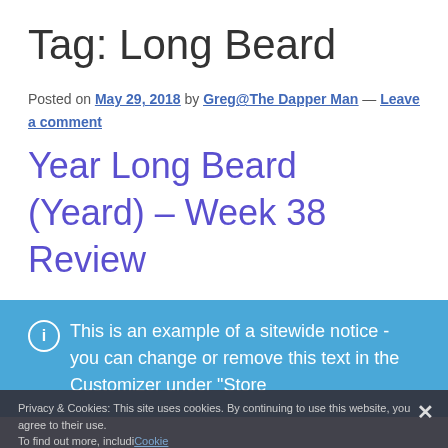Tag: Long Beard
Posted on May 29, 2018 by Greg@The Dapper Man — Leave a comment
Year Long Beard (Yeard) – Week 38 Review
This is an example of a sitewide notice - you can change or remove this text in the Customizer under "Store
Privacy & Cookies: This site uses cookies. By continuing to use this website, you agree to their use. To find out more, including how to control cookies, see here: Cookie
Privacy Preferences
I Agree
Close and ac